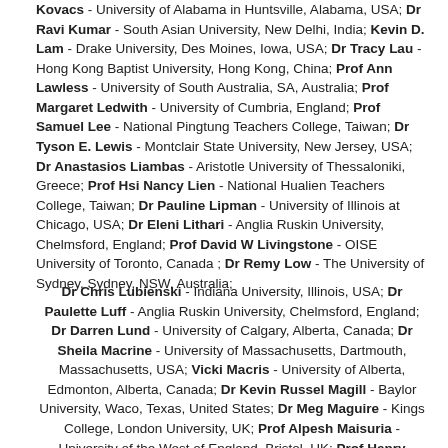Kovacs - University of Alabama in Huntsville, Alabama, USA; Dr Ravi Kumar - South Asian University, New Delhi, India; Kevin D. Lam - Drake University, Des Moines, Iowa, USA; Dr Tracy Lau - Hong Kong Baptist University, Hong Kong, China; Prof Ann Lawless - University of South Australia, SA, Australia; Prof Margaret Ledwith - University of Cumbria, England; Prof Samuel Lee - National Pingtung Teachers College, Taiwan; Dr Tyson E. Lewis - Montclair State University, New Jersey, USA; Dr Anastasios Liambas - Aristotle University of Thessaloniki, Greece; Prof Hsi Nancy Lien - National Hualien Teachers College, Taiwan; Dr Pauline Lipman - University of Illinois at Chicago, USA; Dr Eleni Lithari - Anglia Ruskin University, Chelmsford, England; Prof David W Livingstone - OISE University of Toronto, Canada ; Dr Remy Low - The University of Sydney, Sydney, NSW, Australia;
Dr Chris Lubienski - Indiana University, Illinois, USA; Dr Paulette Luff - Anglia Ruskin University, Chelmsford, England; Dr Darren Lund - University of Calgary, Alberta, Canada; Dr Sheila Macrine - University of Massachusetts, Dartmouth, Massachusetts, USA; Vicki Macris - University of Alberta, Edmonton, Alberta, Canada; Dr Kevin Russel Magill - Baylor University, Waco, Texas, United States; Dr Meg Maguire - Kings College, London University, UK; Prof Alpesh Maisuria - University of the West of England, Bristol, UK; Prof Henry Maitles - University of the West of Scotland; Kirby Malone - University of the West of England, Bristol, England, UK; Dr Curry Malott - West Chester University, West Chester, Pennsylvania, USA; Dr Gregory Martin - University of Technology, Sydney, NSW, Australia; Prof Sandra Mathison - University of British Colombia, Canada; Dr Uvanney Maylor - University of Bedfordshire, UK;